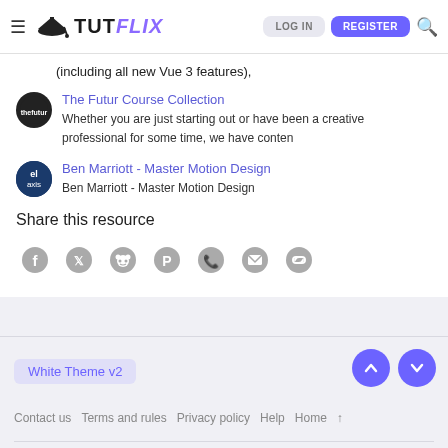TUTFLIX — LOG IN | REGISTER
(including all new Vue 3 features),
The Futur Course Collection — Whether you are just starting out or have been a creative professional for some time, we have conten
Ben Marriott - Master Motion Design — Ben Marriott - Master Motion Design
Share this resource
[Figure (infographic): Social share icons: Facebook, Twitter, Reddit, Pinterest, WhatsApp, Email, Link]
White Theme v2 | Contact us | Terms and rules | Privacy policy | Help | Home